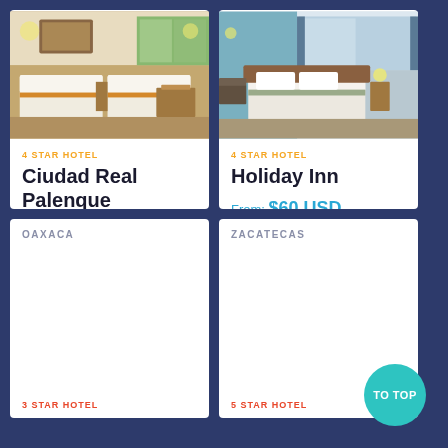[Figure (photo): Hotel room photo for Ciudad Real Palenque — twin beds with orange accents, warm tones]
4 STAR HOTEL
Ciudad Real Palenque
From: $70 USD
[Figure (photo): Hotel room photo for Holiday Inn — queen bed with blue-grey wall accent, modern decor]
4 STAR HOTEL
Holiday Inn
From: $60 USD
OAXACA
3 STAR HOTEL
ZACATECAS
5 STAR HOTEL